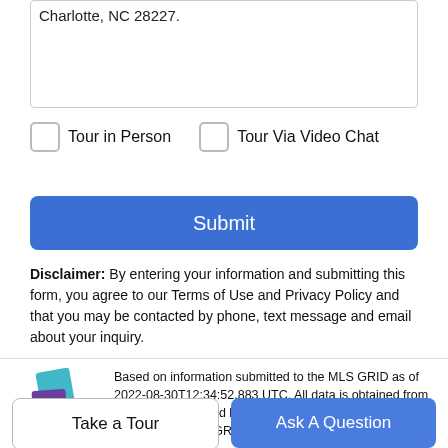Charlotte, NC 28227.
Tour in Person
Tour Via Video Chat
Submit
Disclaimer: By entering your information and submitting this form, you agree to our Terms of Use and Privacy Policy and that you may be contacted by phone, text message and email about your inquiry.
[Figure (logo): MLS GRID logo with layered geometric shapes in teal, purple, and green]
Based on information submitted to the MLS GRID as of 2022-08-30T12:34:52.883 UTC. All data is obtained from various sources and has not been, and will not be, verified by broker or MLIS GRID.
Take a Tour
Ask A Question